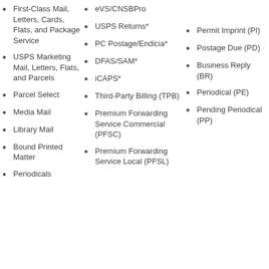First-Class Mail, Letters, Cards, Flats, and Package Service
USPS Marketing Mail, Letters, Flats, and Parcels
Parcel Select
Media Mail
Library Mail
Bound Printed Matter
Periodicals
eVS/CNSBPro
USPS Returns*
PC Postage/Endicia*
DFAS/SAM*
iCAPS*
Third-Party Billing (TPB)
Premium Forwarding Service Commercial (PFSC)
Premium Forwarding Service Local (PFSL)
Permit Imprint (PI)
Postage Due (PD)
Business Reply (BR)
Periodical (PE)
Pending Periodical (PP)